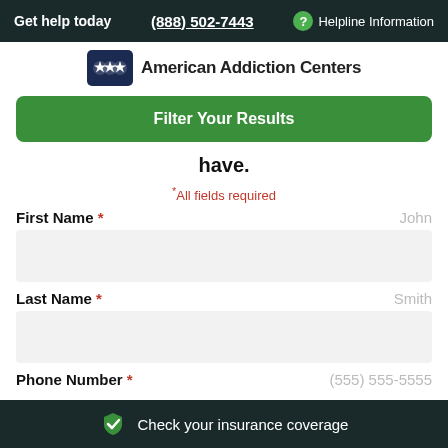Get help today  (888) 502-7443  Helpline Information
[Figure (logo): American Addiction Centers logo with star icon]
Filter Your Results
have.
*All fields required
First Name *  John
Last Name *  Smith
Phone Number *  (555) 555-5555
Check your insurance coverage